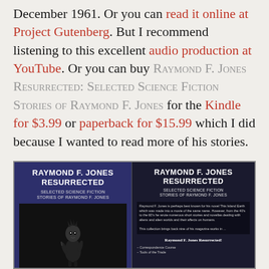December 1961. Or you can read it online at Project Gutenberg. But I recommend listening to this excellent audio production at YouTube. Or you can buy RAYMOND F. JONES RESURRECTED: SELECTED SCIENCE FICTION STORIES OF RAYMOND F. JONES for the Kindle for $3.99 or paperback for $15.99 which I did because I wanted to read more of his stories.
[Figure (photo): Two book covers for 'Raymond F. Jones Resurrected: Selected Science Fiction Stories of Raymond F. Jones'. Left cover shows dark blue header with title and an alien figure illustration on black background. Right cover shows the same title on dark blue header with a description text and book contents listed below.]